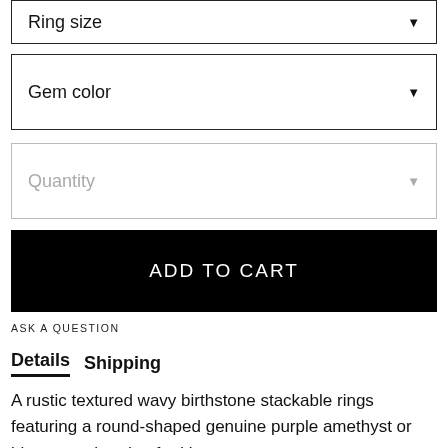Ring size
Gem color
Quantity
ADD TO CART
ASK A QUESTION
Details   Shipping
A rustic textured wavy birthstone stackable rings featuring a round-shaped genuine purple amethyst or blue topaz handcrafted in